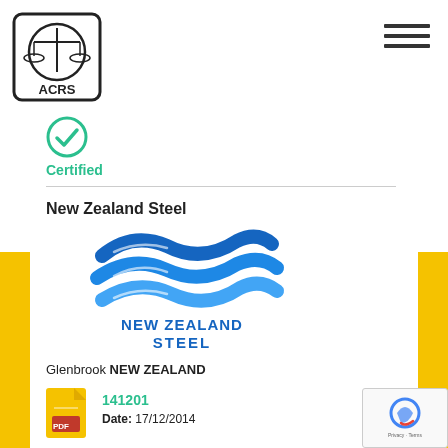[Figure (logo): ACRS logo — circular emblem with scales/balance inside, text 'ACRS' below, in a rounded square border]
[Figure (logo): Hamburger menu icon — three horizontal lines]
[Figure (logo): Teal checkmark circle icon for 'Certified']
Certified
New Zealand Steel
[Figure (logo): New Zealand Steel company logo — blue wave design with text 'NEW ZEALAND STEEL']
Glenbrook NEW ZEALAND
141201
Date: 17/12/2014